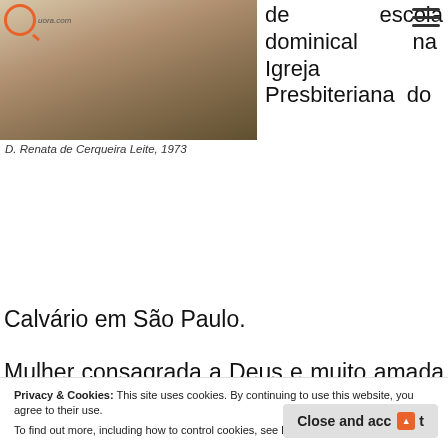Quora.com logo
[Figure (photo): Black and white photograph of D. Renata de Cerqueira Leite, 1973]
D. Renata de Cerqueira Leite, 1973
de escola dominical na Igreja Presbiteriana do Calvário em São Paulo.
Mulher consagrada a Deus e muito amada pelos que a conheceram.
Seu padrão de amor a Cristo e de irradiação desse a
Privacy & Cookies: This site uses cookies. By continuing to use this website, you agree to their use. To find out more, including how to control cookies, see here: Cookie Policy